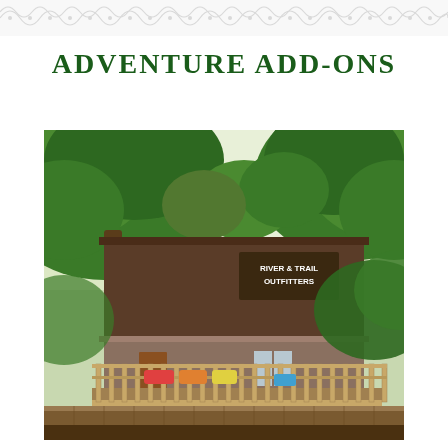[Figure (other): Decorative border pattern at the top of the page with swirling ornamental design in light gray]
ADVENTURE ADD-ONS
[Figure (photo): Exterior photo of the River & Trail Outfitters building, a brown two-story barn-like structure with a deck/balcony railing, surrounded by large green trees. A sign on the upper facade reads RIVER & TRAIL OUTFITTERS.]